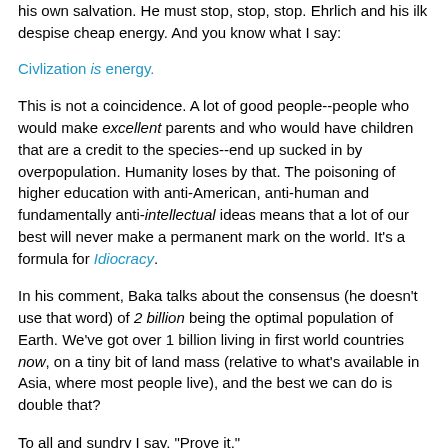his own salvation. He must stop, stop, stop. Ehrlich and his ilk despise cheap energy. And you know what I say:
Civlization is energy.
This is not a coincidence. A lot of good people--people who would make excellent parents and who would have children that are a credit to the species--end up sucked in by overpopulation. Humanity loses by that. The poisoning of higher education with anti-American, anti-human and fundamentally anti-intellectual ideas means that a lot of our best will never make a permanent mark on the world. It's a formula for Idiocracy.
In his comment, Baka talks about the consensus (he doesn't use that word) of 2 billion being the optimal population of Earth. We've got over 1 billion living in first world countries now, on a tiny bit of land mass (relative to what's available in Asia, where most people live), and the best we can do is double that?
To all and sundry I say, "Prove it."